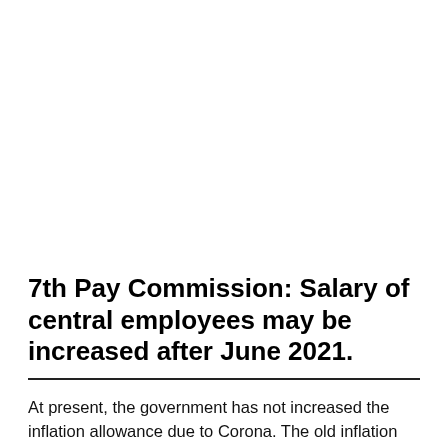7th Pay Commission: Salary of central employees may be increased after June 2021.
At present, the government has not increased the inflation allowance due to Corona. The old inflation allowance is